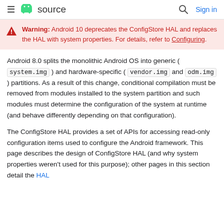≡  source   🔍  Sign in
Warning: Android 10 deprecates the ConfigStore HAL and replaces the HAL with system properties. For details, refer to Configuring.
Android 8.0 splits the monolithic Android OS into generic ( system.img ) and hardware-specific ( vendor.img and odm.img ) partitions. As a result of this change, conditional compilation must be removed from modules installed to the system partition and such modules must determine the configuration of the system at runtime (and behave differently depending on that configuration).
The ConfigStore HAL provides a set of APIs for accessing read-only configuration items used to configure the Android framework. This page describes the design of ConfigStore HAL (and why system properties weren't used for this purpose); other pages in this section detail the HAL